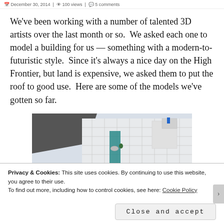December 30, 2014 | 100 views | 5 comments
We've been working with a number of talented 3D artists over the last month or so.  We asked each one to model a building for us — something with a modern-to-futuristic style.  Since it's always a nice day on the High Frontier, but land is expensive, we asked them to put the roof to good use.  Here are some of the models we've gotten so far.
[Figure (photo): 3D rendered rooftop of a modern building with white grid tiles, teal walkway, small figures, dark angled section on the left, and blue sky background]
Privacy & Cookies: This site uses cookies. By continuing to use this website, you agree to their use.
To find out more, including how to control cookies, see here: Cookie Policy
Close and accept